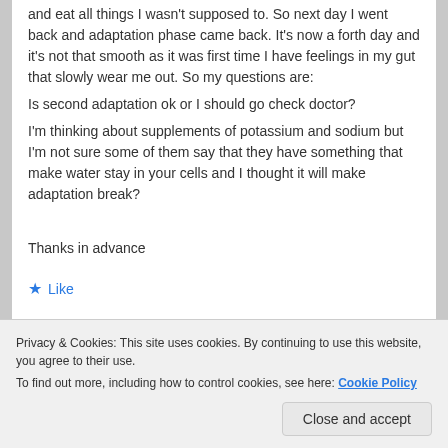and eat all things I wasn't supposed to. So next day I went back and adaptation phase came back. It's now a forth day and it's not that smooth as it was first time I have feelings in my gut that slowly wear me out. So my questions are:
Is second adaptation ok or I should go check doctor?
I'm thinking about supplements of potassium and sodium but I'm not sure some of them say that they have something that make water stay in your cells and I thought it will make adaptation break?

Thanks in advance
Like
Privacy & Cookies: This site uses cookies. By continuing to use this website, you agree to their use.
To find out more, including how to control cookies, see here: Cookie Policy